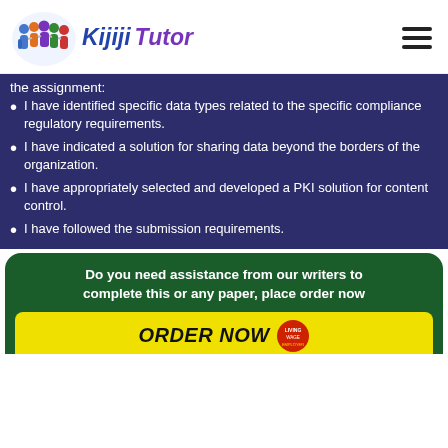[Figure (logo): Kijiji Tutor logo with group of people illustration and bold italic text 'Kijiji Tutor']
the assignment:
I have identified specific data types related to the specific compliance regulatory requirements.
I have indicated a solution for sharing data beyond the borders of the organization.
I have appropriately selected and developed a PKI solution for content control.
I have followed the submission requirements.
Do you need assistance from our writers to complete this or any paper, place order now
ORDER NOW